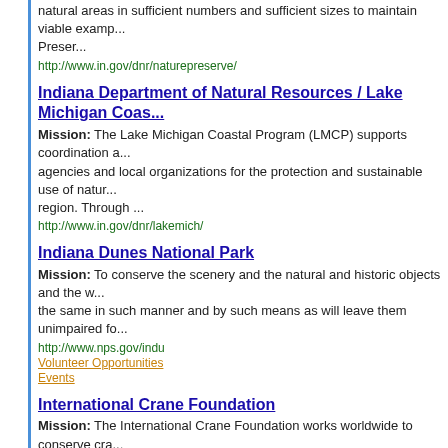natural areas in sufficient numbers and sufficient sizes to maintain viable examples... Preser...
http://www.in.gov/dnr/naturepreserve/
Indiana Department of Natural Resources / Lake Michigan Coastal Program
Mission: The Lake Michigan Coastal Program (LMCP) supports coordination among agencies and local organizations for the protection and sustainable use of natural resources in the region. Through ...
http://www.in.gov/dnr/lakemich/
Indiana Dunes National Park
Mission: To conserve the scenery and the natural and historic objects and the wildlife therein and to provide for the enjoyment of the same in such manner and by such means as will leave them unimpaired for...
http://www.nps.gov/indu
Volunteer Opportunities
Events
International Crane Foundation
Mission: The International Crane Foundation works worldwide to conserve cranes and the ecosystems on which they depend. We provide knowledge, leadership, and inspiration to engage people in resolving their diverse lan...
http://www.savingcranes.org/
Events
Irons Oaks Environmental Learning Center
Mission: Irons Oaks is dedicated to enhancing social and natural communities through environmental education, professional development opportunities, and community building initiatives.
http://www.IronsOaks.com
Jobs & Internships
Izaak Walton League of America
Mission: To conserve, restore, and promote the sustainable use and enjoyment...